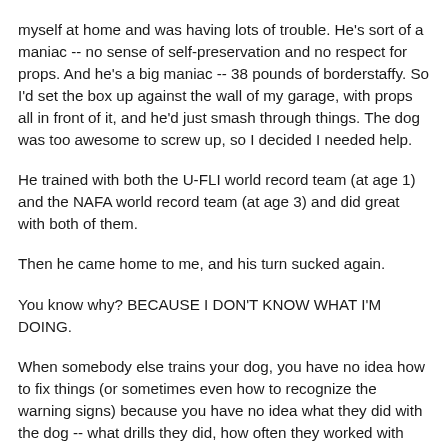myself at home and was having lots of trouble. He's sort of a maniac -- no sense of self-preservation and no respect for props. And he's a big maniac -- 38 pounds of borderstaffy. So I'd set the box up against the wall of my garage, with props all in front of it, and he'd just smash through things. The dog was too awesome to screw up, so I decided I needed help.
He trained with both the U-FLI world record team (at age 1) and the NAFA world record team (at age 3) and did great with both of them.
Then he came home to me, and his turn sucked again.
You know why? BECAUSE I DON'T KNOW WHAT I'M DOING.
When somebody else trains your dog, you have no idea how to fix things (or sometimes even how to recognize the warning signs) because you have no idea what they did with the dog -- what drills they did, how often they worked with him, what props they used, how they motivated him, what they asked of him, and what they chose to reward him for.